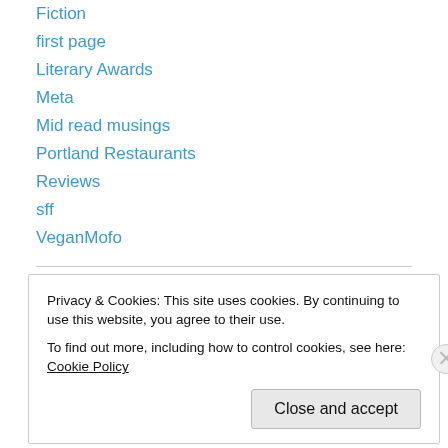Fiction
first page
Literary Awards
Meta
Mid read musings
Portland Restaurants
Reviews
sff
VeganMofo
Tweet!
My Tweets
Privacy & Cookies: This site uses cookies. By continuing to use this website, you agree to their use.
To find out more, including how to control cookies, see here: Cookie Policy
Close and accept